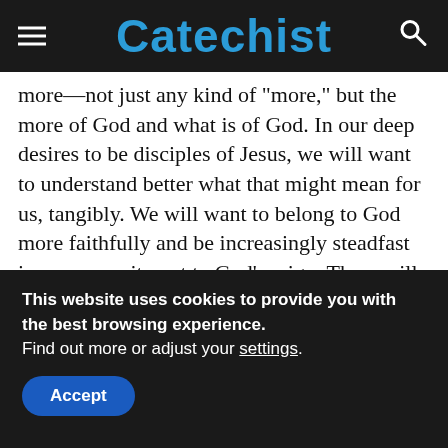Catechist
more—not just any kind of "more," but the more of God and what is of God. In our deep desires to be disciples of Jesus, we will want to understand better what that might mean for us, tangibly. We will want to belong to God more faithfully and be increasingly steadfast in our commitment to God's reign. There will be within us an internal imperative to understand how this can be so in our lives, how our hearts and souls must change for the re-patterning of our inner and outer worlds to come about.

We will be looking for the ways to live on the outside what
This website uses cookies to provide you with the best browsing experience.
Find out more or adjust your settings.
Accept